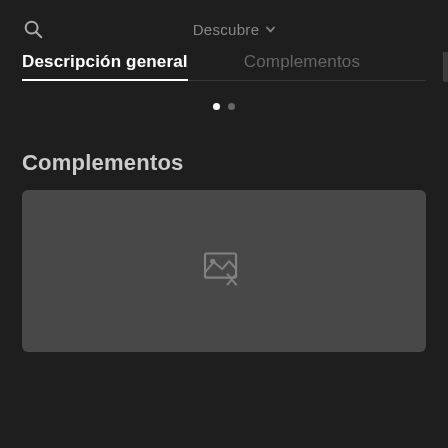Descubre
Descripción general
Complementos
Complementos
[Figure (other): Broken image placeholder in a dark gray rounded rectangle]